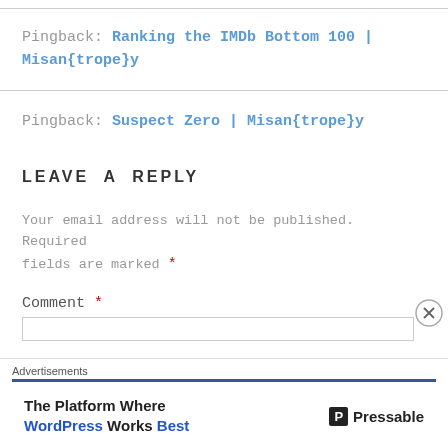Pingback: Ranking the IMDb Bottom 100 | Misan{trope}y
Pingback: Suspect Zero | Misan{trope}y
LEAVE A REPLY
Your email address will not be published. Required fields are marked *
Comment *
[Figure (other): Advertisement banner for Pressable: 'The Platform Where WordPress Works Best']